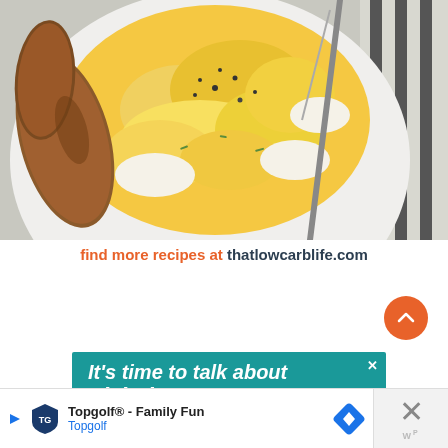[Figure (photo): Top-down view of scrambled eggs with black pepper and chives on a white plate, with sausage links on the side and a fork with striped cloth napkin]
find more recipes at thatlowcarblife.com
[Figure (infographic): Teal advertisement banner: It's time to talk about Alzheimer's]
[Figure (infographic): Bottom ad bar: Topgolf® - Family Fun, Topgolf with navigation icon and close button]